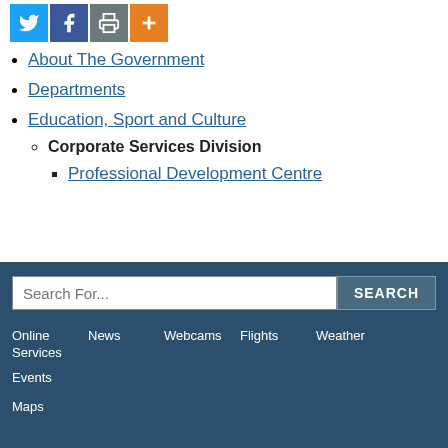[Figure (other): Social media icons: Twitter (blue), Facebook (dark blue), Print (grey), Plus/share (orange)]
About The Government
Departments
Education, Sport and Culture
Corporate Services Division (sub-item, bold)
Professional Development Centre (sub-sub-item, link)
Search For... [input] SEARCH [button]
Online Services | News | Webcams | Flights | Weather | Events
Maps